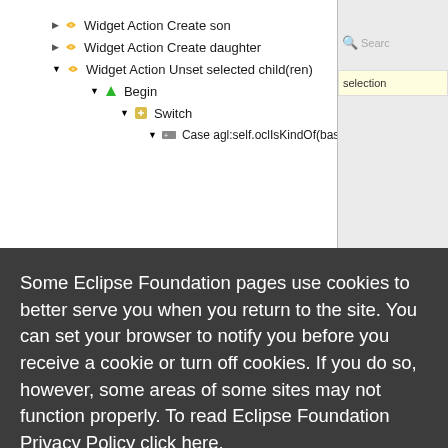[Figure (screenshot): Eclipse IDE tree view showing Widget Action items: 'Widget Action Create son', 'Widget Action Create daughter', 'Widget Action Unset selected child(ren)' with subnodes Begin > Switch > Case agl:self.oclIsKindOf(basicfamily::, and a search/selection panel on the right side.]
Some Eclipse Foundation pages use cookies to better serve you when you return to the site. You can set your browser to notify you before you receive a cookie or turn off cookies. If you do so, however, some areas of some sites may not function properly. To read Eclipse Foundation Privacy Policy click here.